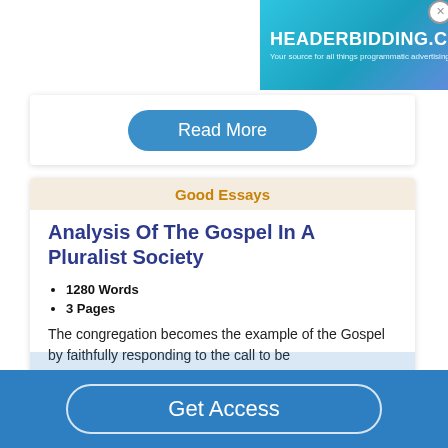[Figure (screenshot): HEADERBIDDING.COM advertisement banner with teal/blue gradient background and text 'Your source for all things programmatic advertising.']
Read More
Good Essays
Analysis Of The Gospel In A Pluralist Society
1280 Words
3 Pages
The congregation becomes the example of the Gospel by faithfully responding to the call to be
Get Access